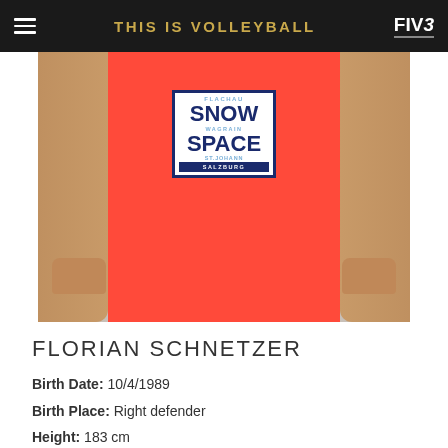THIS IS VOLLEYBALL — FIVB
[Figure (photo): Athlete Florian Schnetzer shown from torso down wearing a red volleyball jersey with Flachau Snow Wagrain Space St. Johann Salzburg sponsor logo]
FLORIAN SCHNETZER
Birth Date: 10/4/1989
Birth Place: Right defender
Height: 183 cm